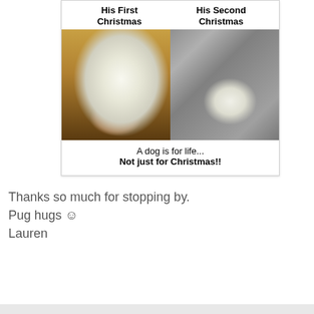[Figure (photo): A greeting card / meme showing two side-by-side photos of a large white dog. Left photo labeled 'His First Christmas' shows a fluffy white puppy lying on a couch with its tongue out. Right photo labeled 'His Second Christmas' shows the same dog (now larger) inside a wire cage/kennel. Below the photos text reads: 'A dog is for life... Not just for Christmas!!']
Thanks so much for stopping by.
Pug hugs ☺
Lauren